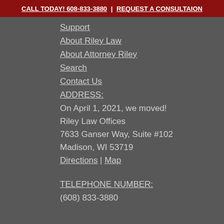CALL TODAY! 608-833-3880 | REQUEST A CONSULTAION
Support
About Riley Law
About Attorney Riley
Search
Contact Us
ADDRESS:
On April 1, 2021, we moved!
Riley Law Offices
7633 Ganser Way, Suite #102
Madison, WI 53719
Directions | Map
TELEPHONE NUMBER:
(608) 833-3880